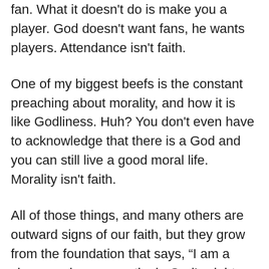fan. What it doesn't do is make you a player. God doesn't want fans, he wants players. Attendance isn't faith.
One of my biggest beefs is the constant preaching about morality, and how it is like Godliness. Huh? You don't even have to acknowledge that there is a God and you can still live a good moral life. Morality isn't faith.
All of those things, and many others are outward signs of our faith, but they grow from the foundation that says, “I am a sinner and am unworthy in God’s sight. His son, Jesus the Christ came to be the sacrifice to allow me to have access to God once again. And I CHOOSE to let him rule my life, lead my life, and be my